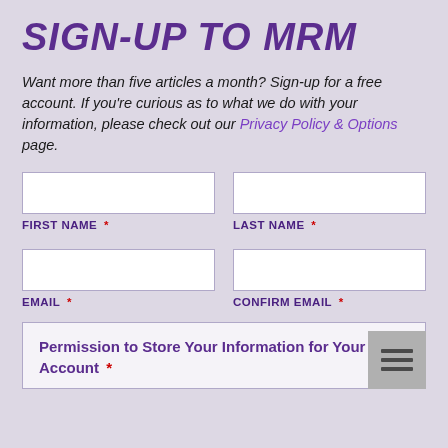SIGN-UP TO MRM
Want more than five articles a month? Sign-up for a free account. If you're curious as to what we do with your information, please check out our Privacy Policy & Options page.
FIRST NAME * [input field]
LAST NAME * [input field]
EMAIL * [input field]
CONFIRM EMAIL * [input field]
Permission to Store Your Information for Your MRM Account *